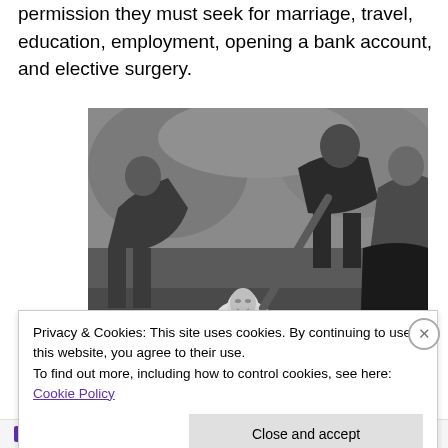permission they must seek for marriage, travel, education, employment, opening a bank account, and elective surgery.
[Figure (photo): Black and white photograph showing several people outdoors, one person appearing to be partially buried or in a hole in the ground while others stand around them.]
Privacy & Cookies: This site uses cookies. By continuing to use this website, you agree to their use.
To find out more, including how to control cookies, see here: Cookie Policy
Close and accept